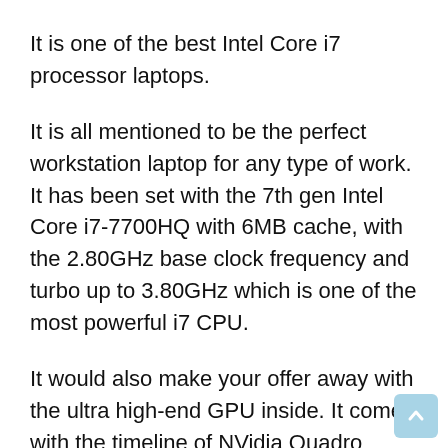It is one of the best Intel Core i7 processor laptops.
It is all mentioned to be the perfect workstation laptop for any type of work.  It has been set with the 7th gen Intel Core i7-7700HQ with 6MB cache, with the 2.80GHz base clock frequency and turbo up to 3.80GHz which is one of the most powerful i7 CPU.
It would also make your offer away with the ultra high-end GPU inside. It comes with the timeline of NVidia Quadro M2200 graphics which is VR ready and it has 16GB of RAM to handle the